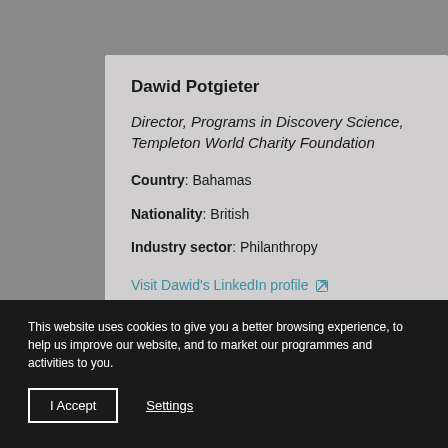Dawid Potgieter
Director, Programs in Discovery Science, Templeton World Charity Foundation
Country: Bahamas
Nationality: British
Industry sector: Philanthropy
Visit Dawid's LinkedIn profile ↗
This website uses cookies to give you a better browsing experience, to help us improve our website, and to market our programmes and activities to you.